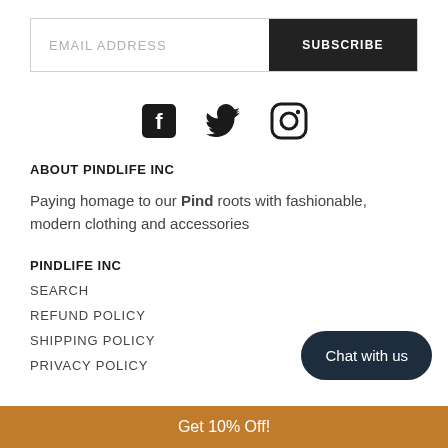EMAIL ADDRESS
SUBSCRIBE
[Figure (illustration): Social media icons: Facebook, Twitter, Instagram]
ABOUT PINDLIFE INC
Paying homage to our Pind roots with fashionable, modern clothing and accessories
PINDLIFE INC
SEARCH
REFUND POLICY
SHIPPING POLICY
PRIVACY POLICY
Chat with us
Get 10% Off!